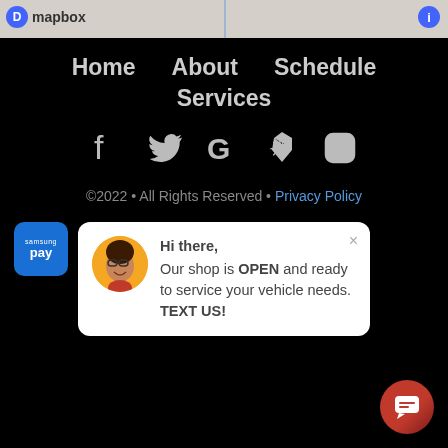[Figure (screenshot): Map strip at top with Mapbox logo and info icon]
Home  About  Schedule
Services
[Figure (infographic): Row of social media icons: Facebook, Twitter, Google, Yelp, Instagram]
©2022 • All Rights Reserved • Privacy Policy
[Figure (logo): Samsung Pay button (blue rounded square)]
Hi there,
Our shop is OPEN and ready to service your vehicle needs. TEXT US!
[Figure (infographic): Chat widget icon button (dark red circle with speech bubble icon)]